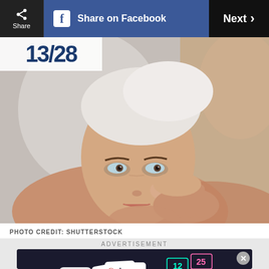Share | Share on Facebook | Next
[Figure (photo): Woman with white towel on head examining her face in mirror, applying skincare product to cheek]
PHOTO CREDIT: SHUTTERSTOCK
[Figure (screenshot): Advertisement banner: Play Free Games ad with cards, gems and game pieces on dark background]